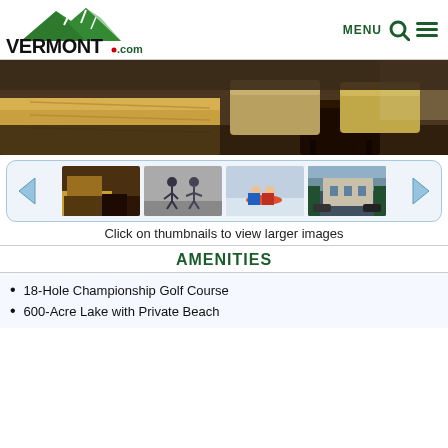[Figure (logo): Vermont.com logo with green mountain graphic above bold black VERMONT text and red dot before .com]
[Figure (photo): Hero photo of hotel room interior showing bed with tan/gold bedding, dark wood furniture, chairs in background]
[Figure (photo): Thumbnail carousel with 4 photos: hotel room interior, two people ice skating, children sledding, outdoor resort view. Left and right blue arrow navigation buttons.]
Click on thumbnails to view larger images
AMENITIES
18-Hole Championship Golf Course
600-Acre Lake with Private Beach